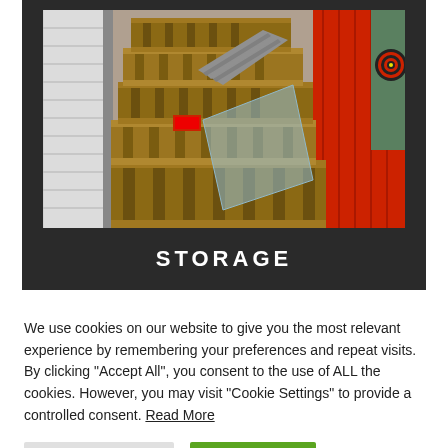[Figure (photo): Stacked wooden pallets with metal sheets and glass panels leaning against red and green storage containers, with a dartboard visible on green wall in background]
STORAGE
We use cookies on our website to give you the most relevant experience by remembering your preferences and repeat visits. By clicking "Accept All", you consent to the use of ALL the cookies. However, you may visit "Cookie Settings" to provide a controlled consent. Read More
Cookie Settings
Accept All